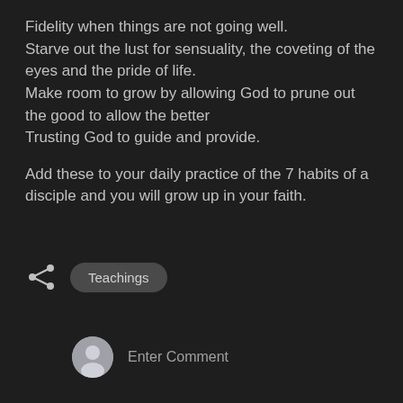Fidelity when things are not going well.
Starve out the lust for sensuality, the coveting of the eyes and the pride of life.
Make room to grow by allowing God to prune out the good to allow the better
Trusting God to guide and provide.
Add these to your daily practice of the 7 habits of a disciple and you will grow up in your faith.
Teachings
Enter Comment